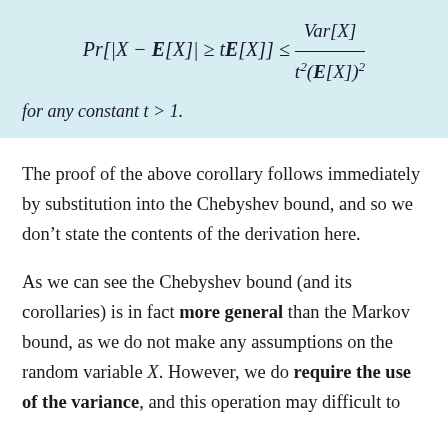for any constant t > 1.
The proof of the above corollary follows immediately by substitution into the Chebyshev bound, and so we don't state the contents of the derivation here.
As we can see the Chebyshev bound (and its corollaries) is in fact more general than the Markov bound, as we do not make any assumptions on the random variable X. However, we do require the use of the variance, and this operation may difficult to